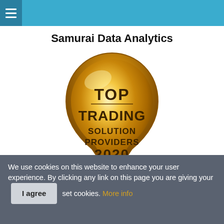Samurai Data Analytics
[Figure (logo): Gold teardrop/pin-shaped badge award logo with text: TOP TRADING SOLUTION PROVIDERS 2020]
We use cookies on this website to enhance your user experience. By clicking any link on this page you are giving your [I agree] set cookies. More info